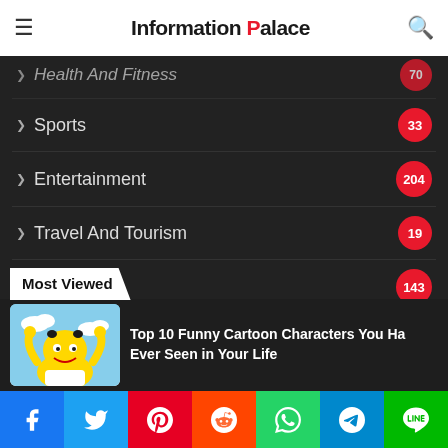Information Palace
Health And Fitness — 70
Sports — 33
Entertainment — 204
Travel And Tourism — 19
Tech — 143
Art & Cultre — 25
Science — 246
Reviews — 20
Most Viewed
Top 10 Funny Cartoon Characters You Have Ever Seen in Your Life